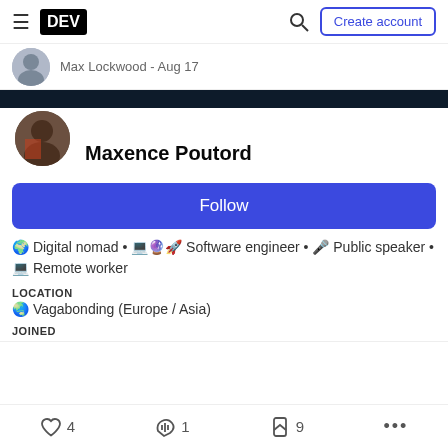DEV — Create account
Max Lockwood - Aug 17
Maxence Poutord
🌍 Digital nomad • 💻🔮🚀 Software engineer • 🎤 Public speaker • 💻 Remote worker
LOCATION
🌏 Vagabonding (Europe / Asia)
JOINED
4  1  9  ...